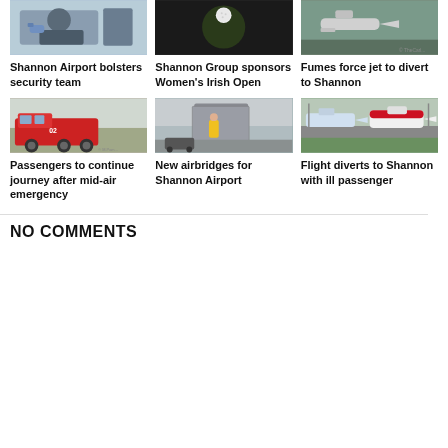[Figure (photo): Person with blue gloves at security scanner, Shannon Airport]
Shannon Airport bolsters security team
[Figure (photo): Golf ball on dark green background, Women's Irish Open]
Shannon Group sponsors Women's Irish Open
[Figure (photo): Aircraft on tarmac, fumes divert]
Fumes force jet to divert to Shannon
[Figure (photo): Red fire truck / airport rescue vehicle on tarmac]
Passengers to continue journey after mid-air emergency
[Figure (photo): Airport airbridge being installed, worker in yellow vest]
New airbridges for Shannon Airport
[Figure (photo): Multiple aircraft on Shannon Airport tarmac, green grass]
Flight diverts to Shannon with ill passenger
NO COMMENTS